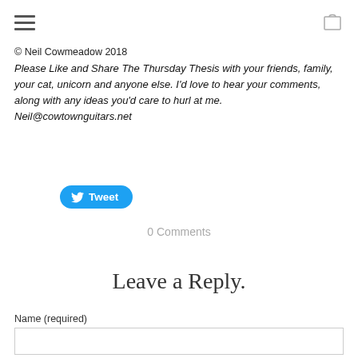Navigation bar with hamburger menu and bag icon
© Neil Cowmeadow 2018
Please Like and Share The Thursday Thesis with your friends, family, your cat, unicorn and anyone else. I'd love to hear your comments, along with any ideas you'd care to hurl at me. Neil@cowtownguitars.net
[Figure (other): Twitter Tweet button in blue rounded rectangle with bird icon]
0 Comments
Leave a Reply.
Name (required)